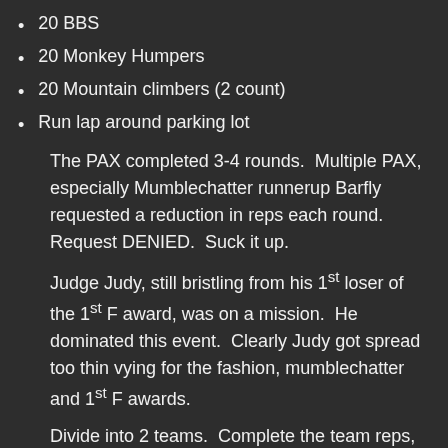20 BBS
20 Monkey Humpers
20 Mountain climbers (2 count)
Run lap around parking lot
The PAX completed 3-4 rounds.  Multiple PAX, especially Mumblechatter runnerup Barfly requested a reduction in reps each round.  Request DENIED.  Suck it up.
Judge Judy, still bristling from his 1st loser of the 1st F award, was on a mission.  He dominated this event.  Clearly Judy got spread too thin vying for the fashion, mumblechatter and 1st F awards.
Divide into 2 teams.  Complete the team reps, run a lap and move on to next round.
Round 1--100 merkins
Round 2--200 monkey humpers